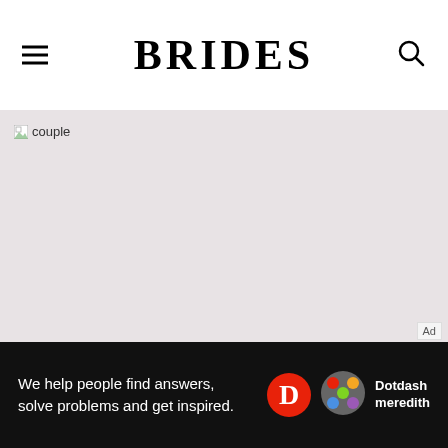BRIDES
[Figure (photo): Broken image placeholder labeled 'couple' on a light pinkish-grey background]
Ad
[Figure (infographic): Dotdash Meredith advertisement banner: 'We help people find answers, solve problems and get inspired.' with Dotdash Meredith logo]